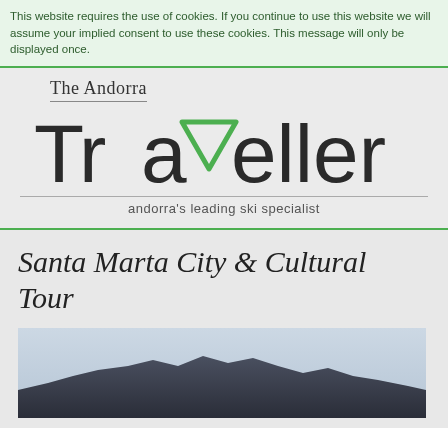This website requires the use of cookies. If you continue to use this website we will assume your implied consent to use these cookies. This message will only be displayed once.
[Figure (logo): The Andorra Traveller logo with green triangle accent on letter 'v', subtitle 'andorra's leading ski specialist']
Santa Marta City & Cultural Tour
[Figure (photo): Landscape photo showing dark mountain silhouette against a light grey sky]